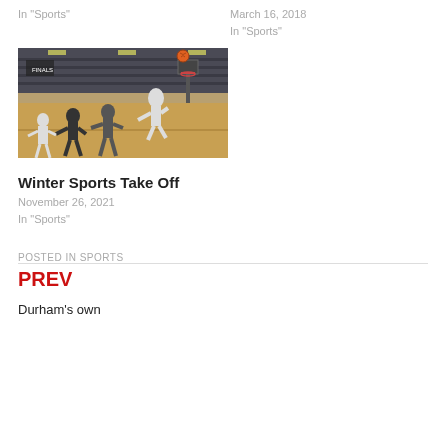In "Sports"
March 16, 2018
In "Sports"
[Figure (photo): Basketball gym scene with players during a game or practice, one player jumping toward the basket]
Winter Sports Take Off
November 26, 2021
In "Sports"
POSTED IN SPORTS
PREV
Durham's own